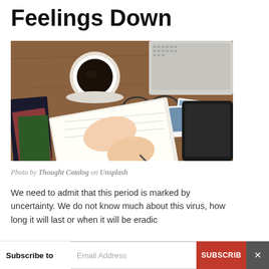Feelings Down
[Figure (photo): Overhead view of a person writing in a notebook at a wooden desk, with a cup of coffee, glasses, printed photos, a tablet, and a laptop also on the desk.]
Photo by Thought Catalog on Unsplash
We need to admit that this period is marked by uncertainty. We do not know much about this virus, how long it will last or when it will be eradic…
Subscribe to | Email Address | SUBSCRIBE | ×